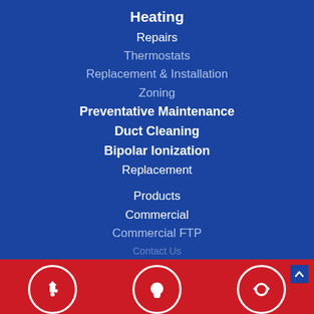Heating
Repairs
Thermostats
Replacement & Installation
Zoning
Preventative Maintenance
Duct Cleaning
Bipolar Ionization
Replacement
Products
Commercial
Commercial FTP
Please complete th
Please complete th
Please complete the form